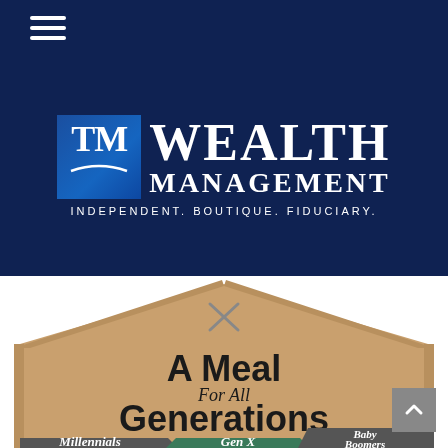TM Wealth Management — navigation header with hamburger menu
[Figure (logo): TM Wealth Management logo. Blue square with TM letters and arc, followed by 'WEALTH MANAGEMENT' in white serif text, and tagline 'INDEPENDENT. BOUTIQUE. FIDUCIARY.' on a dark navy background.]
[Figure (infographic): Infographic titled 'A Meal For All Generations' showing a barn-shaped graphic in tan/brown color with an X roof marker. Bottom labels show 'Millennials', 'Gen X', and 'Baby Boomers' categories.]